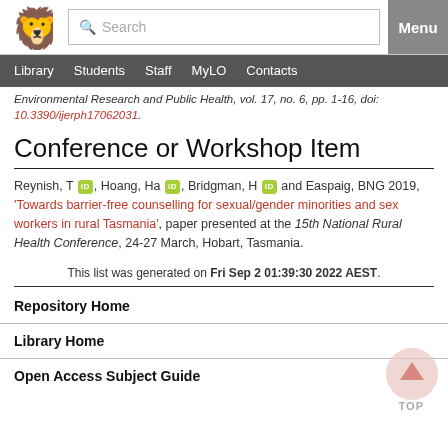Search | Menu | Library | Students | Staff | MyLO | Contacts
Environmental Research and Public Health, vol. 17, no. 6, pp. 1-16, doi: 10.3390/ijerph17062031.
Conference or Workshop Item
Reynish, T, Hoang, Ha, Bridgman, H and Easpaig, BNG 2019, 'Towards barrier-free counselling for sexual/gender minorities and sex workers in rural Tasmania', paper presented at the 15th National Rural Health Conference, 24-27 March, Hobart, Tasmania.
This list was generated on Fri Sep 2 01:39:30 2022 AEST.
Repository Home
Library Home
Open Access Subject Guide